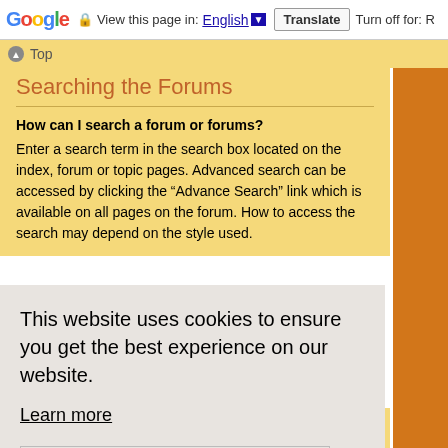Google  View this page in: English  Translate  Turn off for: R
Top
Searching the Forums
How can I search a forum or forums?
Enter a search term in the search box located on the index, forum or topic pages. Advanced search can be accessed by clicking the “Advance Search” link which is available on all pages on the forum. How to access the search may depend on the style used.
This website uses cookies to ensure you get the best experience on our website.
Learn more
Got it!
Your search returned too many results for the webserver to handle. Use “Advanced search” and be more specific in the